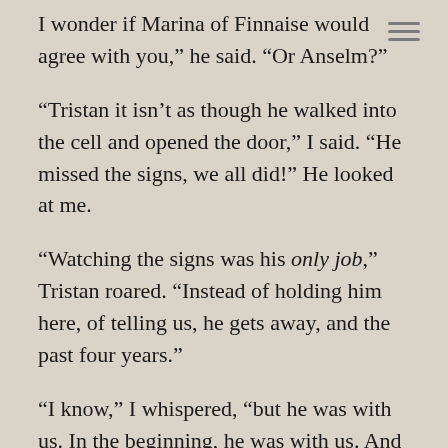I wonder if Marina of Finnaise would agree with you,” he said. “Or Anselm?”
“Tristan it isn’t as though he walked into the cell and opened the door,” I said. “He missed the signs, we all did!” He looked at me.
“Watching the signs was his only job,” Tristan roared. “Instead of holding him here, of telling us, he gets away, and the past four years.”
“I know,” I whispered, “but he was with us. In the beginning, he was with us. And with Lisette and Aaron before that.” He frowned. “You can’t fix this, Tristan, it happened.” He looked at me strangely.
“I’m sorry I was gone so long, Thena,” he said